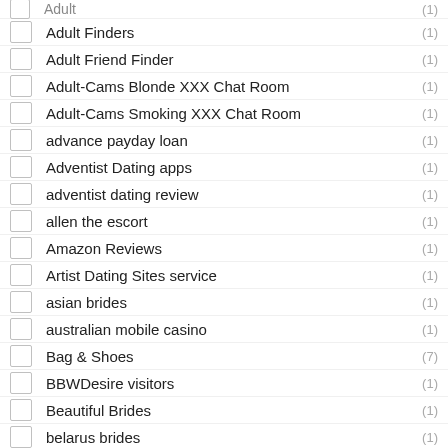Adult Finders (1)
Adult Friend Finder (1)
Adult-Cams Blonde XXX Chat Room (1)
Adult-Cams Smoking XXX Chat Room (1)
advance payday loan (1)
Adventist Dating apps (1)
adventist dating review (1)
allen the escort (1)
Amazon Reviews (1)
Artist Dating Sites service (1)
asian brides (1)
australian mobile casino (1)
Bag & Shoes (7)
BBWDesire visitors (1)
Beautiful Brides (1)
belarus brides (1)
best dating sites over 40 (1)
Best Essay Writing Service